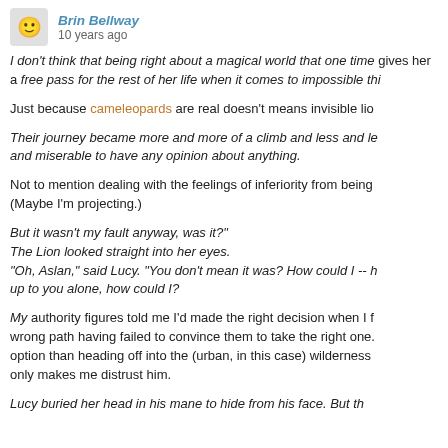Brin Bellway · 10 years ago
I don't think that being right about a magical world that one time gives her a free pass for the rest of her life when it comes to impossible thi...
Just because cameleopards are real doesn't means invisible lio...
Their journey became more and more of a climb and less and le... and miserable to have any opinion about anything.
Not to mention dealing with the feelings of inferiority from being... (Maybe I'm projecting.)
"But it wasn't my fault anyway, was it?" The Lion looked straight into her eyes. "Oh, Aslan," said Lucy. "You don't mean it was? How could I -- h... up to you alone, how could I?
My authority figures told me I'd made the right decision when I f... wrong path having failed to convince them to take the right one... option than heading off into the (urban, in this case) wilderness... only makes me distrust him.
Lucy buried her head in his mane to hide from his face. But th...